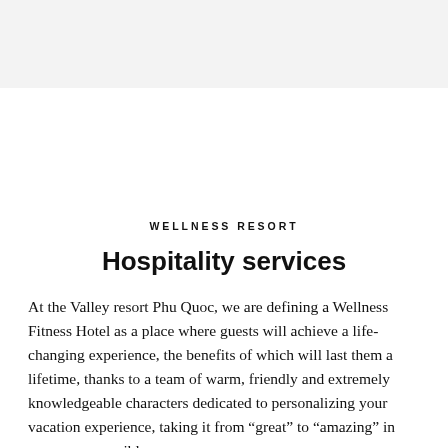[Figure (photo): Light gray placeholder image block at the top of the page]
WELLNESS RESORT
Hospitality services
At the Valley resort Phu Quoc, we are defining a Wellness Fitness Hotel as a place where guests will achieve a life-changing experience, the benefits of which will last them a lifetime, thanks to a team of warm, friendly and extremely knowledgeable characters dedicated to personalizing your vacation experience, taking it from “great” to “amazing” in every way possible.